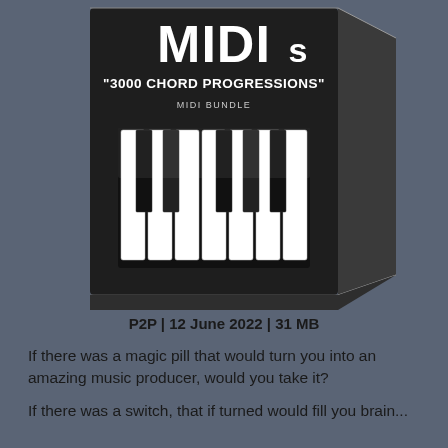[Figure (illustration): Product box for MIDI bundle titled 'MIDIs 3000 CHORD PROGRESSIONS MIDI BUNDLE' with a piano keyboard graphic on the front of a black box-style package]
P2P | 12 June 2022 | 31 MB
If there was a magic pill that would turn you into an amazing music producer, would you take it?
If there was a switch, that if turned would fill you brain...